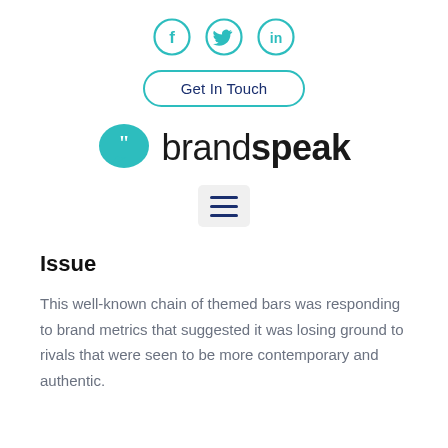[Figure (logo): Social media icons: Facebook, Twitter, LinkedIn in teal circle outlines]
[Figure (logo): Get In Touch button with teal rounded border]
[Figure (logo): Brandspeak logo: teal speech bubble with quote marks and brandspeak text]
[Figure (other): Hamburger menu icon (three horizontal lines) in a light grey rounded box]
Issue
This well-known chain of themed bars was responding to brand metrics that suggested it was losing ground to rivals that were seen to be more contemporary and authentic.